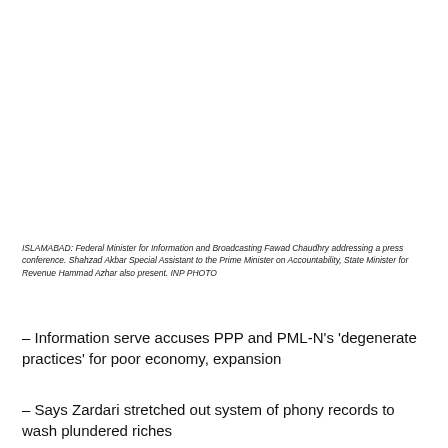ISLAMABAD: Federal Minister for Information and Broadcasting Fawad Chaudhry addressing a press conference. Shahzad Akbar Special Assistant to the Prime Minister on Accountability, State Minister for Revenue Hammad Azhar also present. INP PHOTO
– Information serve accuses PPP and PML-N's 'degenerate practices' for poor economy, expansion
– Says Zardari stretched out system of phony records to wash plundered riches